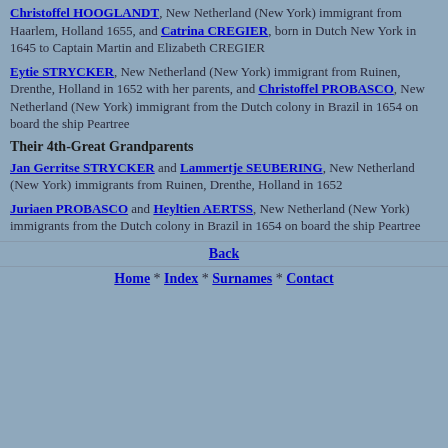Christoffel HOOGLANDT, New Netherland (New York) immigrant from Haarlem, Holland 1655, and Catrina CREGIER, born in Dutch New York in 1645 to Captain Martin and Elizabeth CREGIER
Eytie STRYCKER, New Netherland (New York) immigrant from Ruinen, Drenthe, Holland in 1652 with her parents, and Christoffel PROBASCO, New Netherland (New York) immigrant from the Dutch colony in Brazil in 1654 on board the ship Peartree
Their 4th-Great Grandparents
Jan Gerritse STRYCKER and Lammertje SEUBERING, New Netherland (New York) immigrants from Ruinen, Drenthe, Holland in 1652
Juriaen PROBASCO and Heyltien AERTSS, New Netherland (New York) immigrants from the Dutch colony in Brazil in 1654 on board the ship Peartree
Back
Home * Index * Surnames * Contact